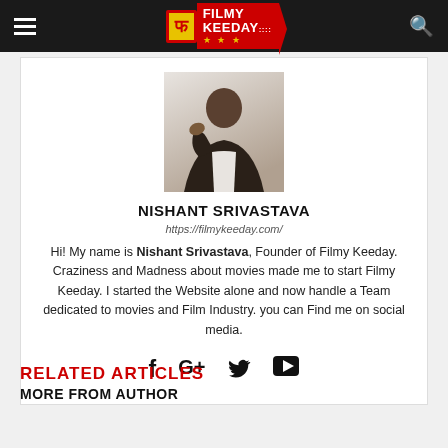FILMY KEEDAY
[Figure (photo): Profile photo of Nishant Srivastava, a young man in dark jacket with hand near face]
NISHANT SRIVASTAVA
https://filmykeeday.com/
Hi! My name is Nishant Srivastava, Founder of Filmy Keeday. Craziness and Madness about movies made me to start Filmy Keeday. I started the Website alone and now handle a Team dedicated to movies and Film Industry. you can Find me on social media.
[Figure (infographic): Social media icons: Facebook, Google+, Twitter, YouTube]
RELATED ARTICLES
MORE FROM AUTHOR